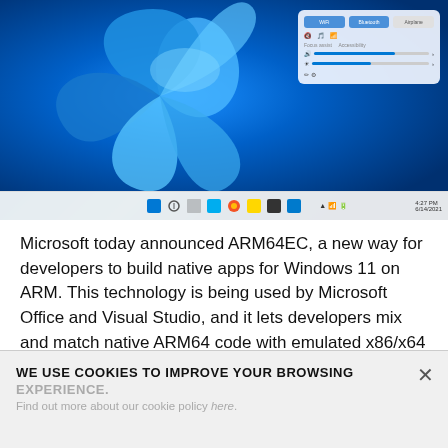[Figure (screenshot): Windows 11 desktop screenshot showing the colorful blue swirl wallpaper and the quick settings panel open in the top right corner. The taskbar is visible at the bottom with centered icons.]
Microsoft today announced ARM64EC, a new way for developers to build native apps for Windows 11 on ARM. This technology is being used by Microsoft Office and Visual Studio, and it lets developers mix and match native ARM64 code with emulated x86/x64 code in the same process.
“ARM64EC is a new application binary interface (ABI) for Windows 11 on ARM that runs with native speed
WE USE COOKIES TO IMPROVE YOUR BROWSING EXPERIENCE.
Find out more about our cookie policy here.